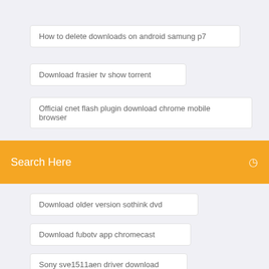How to delete downloads on android samung p7
Download frasier tv show torrent
Official cnet flash plugin download chrome mobile browser
[Figure (screenshot): Orange search bar with 'Search Here' placeholder text and a search icon on the right]
Download older version sothink dvd
Download fubotv app chromecast
Sony sve1511aen driver download